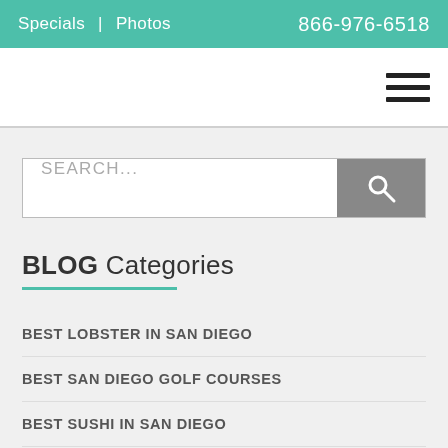Specials | Photos  866-976-6518
[Figure (other): Hamburger menu icon (three horizontal bars)]
SEARCH...
BLOG Categories
BEST LOBSTER IN SAN DIEGO
BEST SAN DIEGO GOLF COURSES
BEST SUSHI IN SAN DIEGO
BLOG
CHRISTMAS IN SAN DIEGO